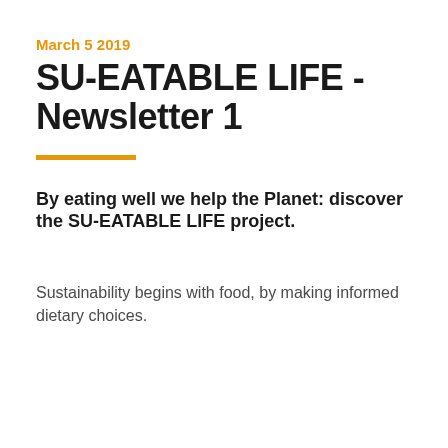March 5 2019
SU-EATABLE LIFE - Newsletter 1
By eating well we help the Planet: discover the SU-EATABLE LIFE project.
Sustainability begins with food, by making informed dietary choices.